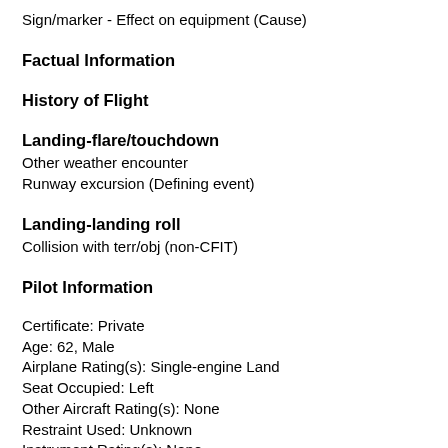Sign/marker - Effect on equipment (Cause)
Factual Information
History of Flight
Landing-flare/touchdown
Other weather encounter
Runway excursion (Defining event)
Landing-landing roll
Collision with terr/obj (non-CFIT)
Pilot Information
Certificate: Private
Age: 62, Male
Airplane Rating(s): Single-engine Land
Seat Occupied: Left
Other Aircraft Rating(s): None
Restraint Used: Unknown
Instrument Rating(s): None